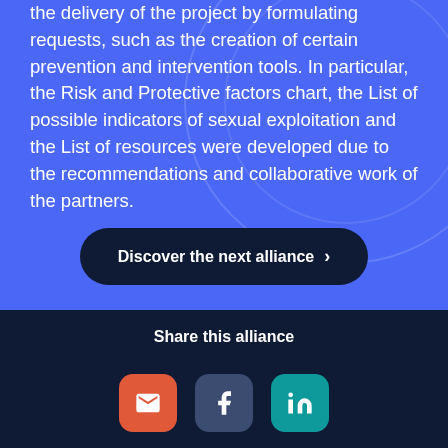the delivery of the project by formulating requests, such as the creation of certain prevention and intervention tools. In particular, the Risk and Protective factors chart, the List of possible indicators of sexual exploitation and the List of resources were developed due to the recommendations and collaborative work of the partners.
Discover the next alliance ›
Share this alliance
[Figure (illustration): Three social sharing icon buttons: email (red/orange), Facebook (dark blue-grey), and LinkedIn (teal)]